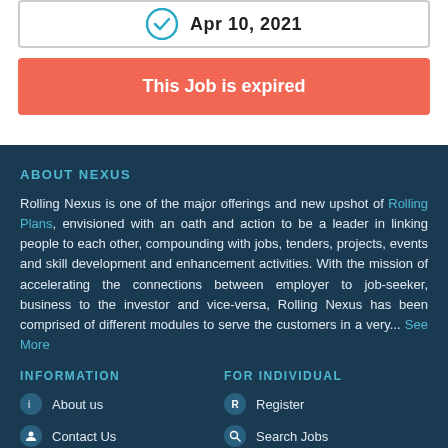Apr 10, 2021
This Job is expired
ABOUT NEXUS
Rolling Nexus is one of the major offerings and new upshot of Rolling Plans, envisioned with an oath and action to be a leader in linking people to each other, compounding with jobs, tenders, projects, events and skill development and enhancement activities. With the mission of accelerating the connections between employer to job-seeker, business to the investor and vice-versa, Rolling Nexus has been comprised of different modules to serve the customers in a very... See More
INFORMATION
FOR INDIVIDUAL
About us
Register
Contact Us
Search Jobs
Terms
Login